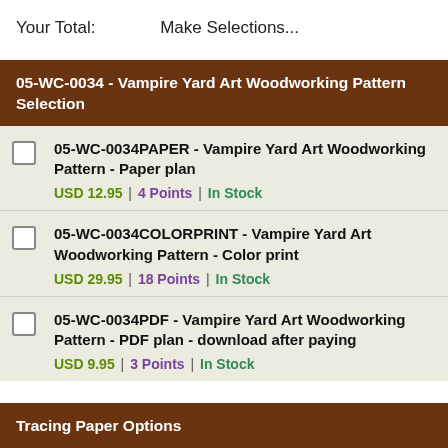Your Total:   Make Selections...
05-WC-0034 - Vampire Yard Art Woodworking Pattern Selection
05-WC-0034PAPER - Vampire Yard Art Woodworking Pattern - Paper plan
USD 12.95 | 4 Points | In Stock
05-WC-0034COLORPRINT - Vampire Yard Art Woodworking Pattern - Color print
USD 29.95 | 18 Points | In Stock
05-WC-0034PDF - Vampire Yard Art Woodworking Pattern - PDF plan - download after paying
USD 9.95 | 3 Points | In Stock
Tracing Paper Options